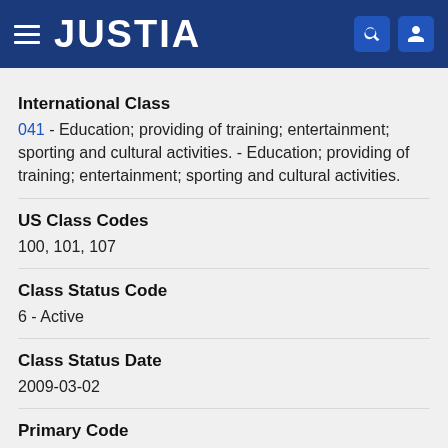JUSTIA
International Class
041 - Education; providing of training; entertainment; sporting and cultural activities. - Education; providing of training; entertainment; sporting and cultural activities.
US Class Codes
100, 101, 107
Class Status Code
6 - Active
Class Status Date
2009-03-02
Primary Code
041